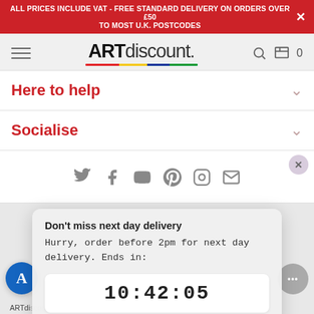ALL PRICES INCLUDE VAT - FREE STANDARD DELIVERY ON ORDERS OVER £50 TO MOST U.K. POSTCODES
[Figure (logo): ARTdiscount logo with colored underline stripe]
Here to help
Socialise
[Figure (screenshot): Social media icons: Twitter, Facebook, YouTube, Pinterest, Instagram, Email with X close button]
[Figure (infographic): Popup: Don't miss next day delivery - Hurry, order before 2pm for next day delivery. Ends in: 10:42:05]
ARTdi... trademarks of ... the best experience on our website. Privacy Policy
[Figure (infographic): Cookie consent bar with Preferences and Accept buttons, wifi icon button, A button, and chat bubble]